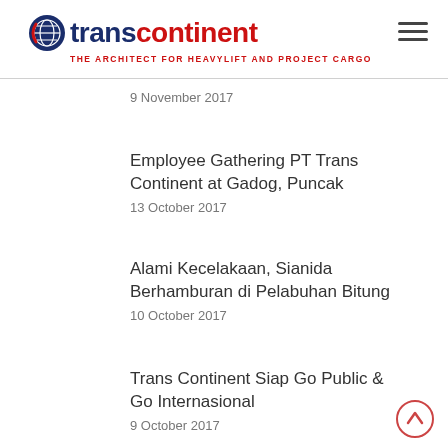[Figure (logo): Trans Continent logo — globe icon with 'transcontinent' text in navy/red and tagline 'THE ARCHITECT FOR HEAVYLIFT AND PROJECT CARGO']
9 November 2017
Employee Gathering PT Trans Continent at Gadog, Puncak
13 October 2017
Alami Kecelakaan, Sianida Berhamburan di Pelabuhan Bitung
10 October 2017
Trans Continent Siap Go Public & Go Internasional
9 October 2017